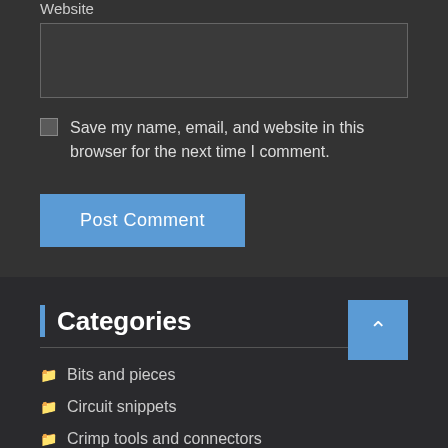Website
Save my name, email, and website in this browser for the next time I comment.
Post Comment
Categories
Bits and pieces
Circuit snippets
Crimp tools and connectors